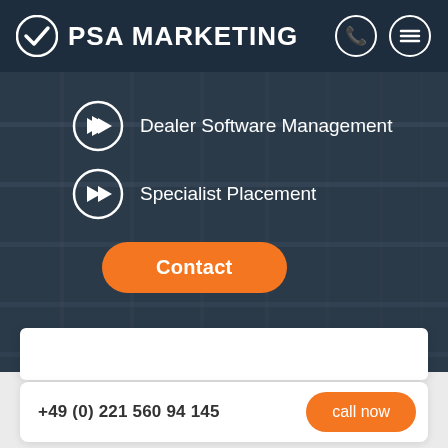PSA MARKETING
Dealer Software Management
Specialist Placement
Contact
FURTHER E-COMMERCE SOLUTIONS
+49 (0) 221 560 94 145
call now